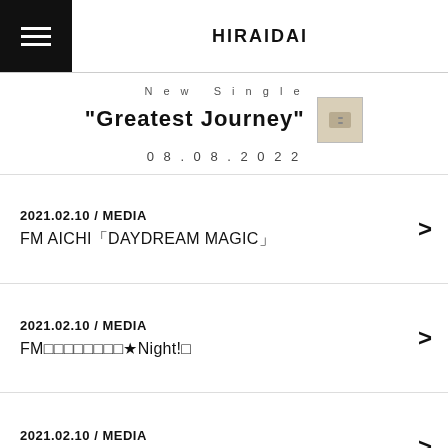HIRAIDAI
[Figure (other): New Single promo banner: '"Greatest Journey"' with date 08.08.2022 and small album artwork thumbnail]
2021.02.10 / MEDIA
FM AICHI「DAYDREAM MAGIC」
2021.02.10 / MEDIA
FM□□□□□□□□★Night!□
2021.02.10 / MEDIA
FM□□□□□□□□
2021.02.10 / MEDIA